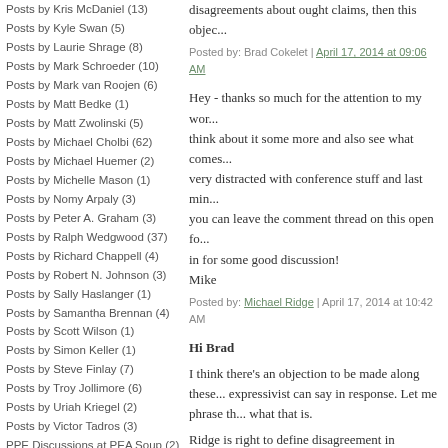Posts by Kris McDaniel (13)
Posts by Kyle Swan (5)
Posts by Laurie Shrage (8)
Posts by Mark Schroeder (10)
Posts by Mark van Roojen (6)
Posts by Matt Bedke (1)
Posts by Matt Zwolinski (5)
Posts by Michael Cholbi (62)
Posts by Michael Huemer (2)
Posts by Michelle Mason (1)
Posts by Nomy Arpaly (3)
Posts by Peter A. Graham (3)
Posts by Ralph Wedgwood (37)
Posts by Richard Chappell (4)
Posts by Robert N. Johnson (3)
Posts by Sally Haslanger (1)
Posts by Samantha Brennan (4)
Posts by Scott Wilson (1)
Posts by Simon Keller (1)
Posts by Steve Finlay (7)
Posts by Troy Jollimore (6)
Posts by Uriah Kriegel (2)
Posts by Victor Tadros (3)
PPE Discussions at PEA Soup (2)
Practical Rationality (57)
Practical reasons (15)
disagreements about ought claims, then this objec...
Posted by: Brad Cokelet | April 17, 2014 at 09:06 AM
Hey - thanks so much for the attention to my wor... think about it some more and also see what comes... very distracted with conference stuff and last min... you can leave the comment thread on this open fo... in for some good discussion! Mike
Posted by: Michael Ridge | April 17, 2014 at 10:42 AM
Hi Brad
I think there's an objection to be made along these... expressivist can say in response. Let me phrase th... what that is.
Ridge is right to define disagreement in prescripti... prescription when they would give incompatible a... hypothetical situation.
The controversial question is can we use disagree... cases in which people utter seemingly conflicting... express desire-like attitudes. As you correctly, obs... consider the following disagreement: